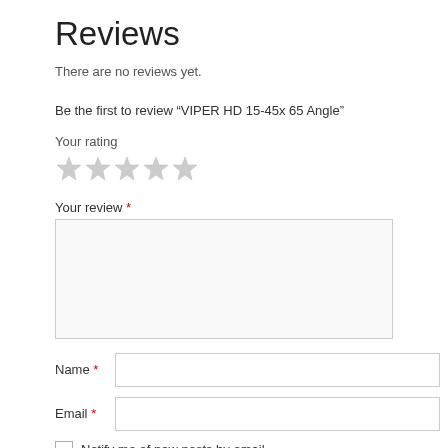Reviews
There are no reviews yet.
Be the first to review “VIPER HD 15-45x 65 Angle”
Your rating
Your review *
Name *
Email *
Notify me of new posts by email.